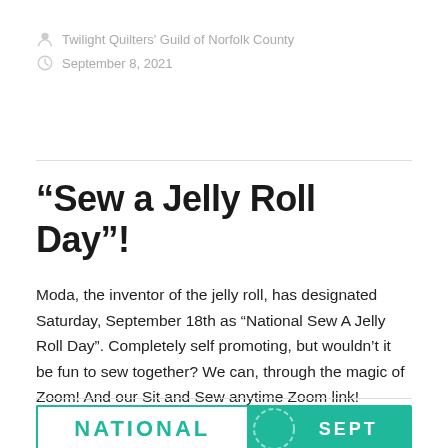Twilight Quilters' Guild of Norfolk County
September 8, 2021
“Sew a Jelly Roll Day”!
Moda, the inventor of the jelly roll, has designated Saturday, September 18th as “National Sew A Jelly Roll Day”. Completely self promoting, but wouldn’t it be fun to sew together? We can, through the magic of Zoom! And our Sit and Sew anytime Zoom link!
[Figure (infographic): Banner graphic showing 'NATIONAL' text in teal on white left side, and 'SEPT' text in white on teal right side with dashed circle decorative element]